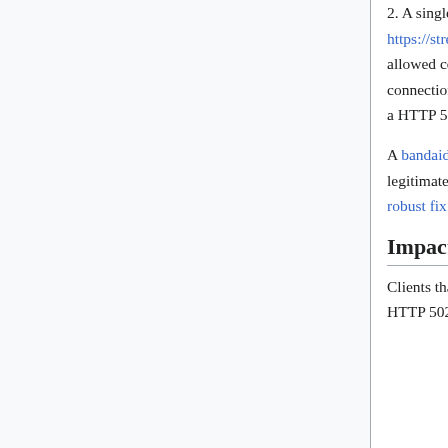2. A single IP address started many connections to https://stream.wikimedia.org/v2/stream/recentchange, eventually filling up the pool of allowed concurrent connections in Varnish (25 * 8 varnish backends == 200 total connections). Since the pool was used, other clients were being denied connections with a HTTP 502 from nginx.
A bandaid patch was deployed to block the offending IP's connections to allow legitimate clients to connect over the weekend until we had time to deploy a more robust fix.
Impact
Clients that attempted to connect to EventStreams during the outage windows got at HTTP 502, meanwhile